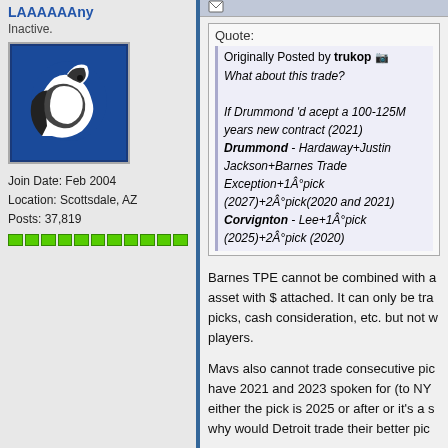Inactive.
[Figure (illustration): Dallas Mavericks logo avatar - blue background with horse/maverick icon in black and white]
Join Date: Feb 2004
Location: Scottsdale, AZ
Posts: 37,819
Quote:
Originally Posted by trukop
What about this trade?
If Drummond 'd acept a 100-125M years new contract (2021)
Drummond - Hardaway+Justin Jackson+Barnes Trade Exception+1°pick (2027)+2°pick(2020 and 2021)
Corvignton - Lee+1°pick (2025)+2°pick (2020)
Barnes TPE cannot be combined with asset with $ attached. It can only be trade picks, cash consideration, etc. but not w players.
Mavs also cannot trade consecutive pic have 2021 and 2023 spoken for (to NY either the pick is 2025 or after or it's a s why would Detroit trade their better pic worse one?)
Mavs can't trade the 2020 pick until we pick a player in the draft this offseason trade the Warriors' second-rounder whi